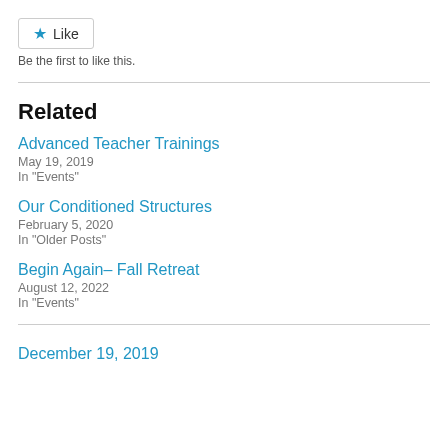Like
Be the first to like this.
Related
Advanced Teacher Trainings
May 19, 2019
In "Events"
Our Conditioned Structures
February 5, 2020
In "Older Posts"
Begin Again– Fall Retreat
August 12, 2022
In "Events"
December 19, 2019